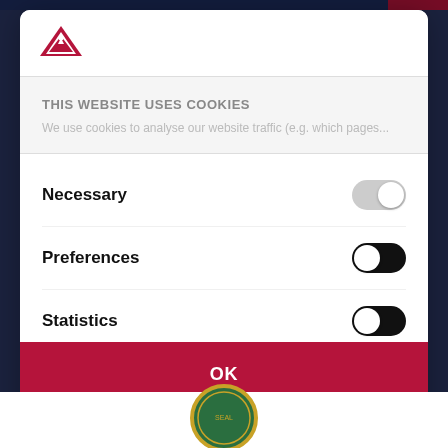[Figure (logo): Red triangle/mountain logo with star]
THIS WEBSITE USES COOKIES
We use cookies to analyse our website traffic (e.g. which pages...
Necessary
Preferences
Statistics
OK
Powered by Cookiebot by Usercentrics